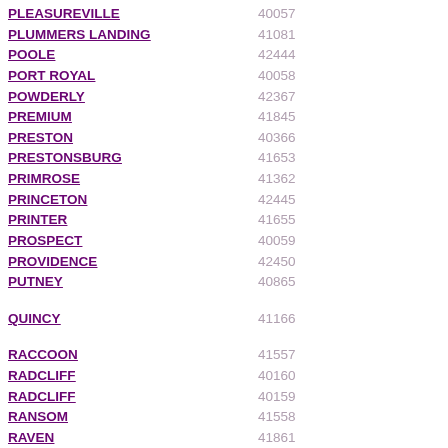| Place Name | ZIP Code |
| --- | --- |
| PLEASUREVILLE | 40057 |
| PLUMMERS LANDING | 41081 |
| POOLE | 42444 |
| PORT ROYAL | 40058 |
| POWDERLY | 42367 |
| PREMIUM | 41845 |
| PRESTON | 40366 |
| PRESTONSBURG | 41653 |
| PRIMROSE | 41362 |
| PRINCETON | 42445 |
| PRINTER | 41655 |
| PROSPECT | 40059 |
| PROVIDENCE | 42450 |
| PUTNEY | 40865 |
| QUINCY | 41166 |
| RACCOON | 41557 |
| RADCLIFF | 40160 |
| RADCLIFF | 40159 |
| RANSOM | 41558 |
| RAVEN | 41861 |
| RAVENNA | 40472 |
| RAYWICK | 40060 |
| REDFOX | 41847 |
| REED | 42451 |
| REGINA | 41559 |
| RENFRO VALLEY | 40473 |
| REVELO | 42638 |
| REYNOLDS STATION | 42368 |